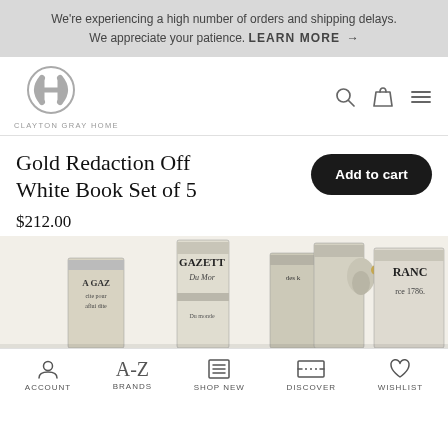We’re experiencing a high number of orders and shipping delays. We appreciate your patience. LEARN MORE →
[Figure (logo): Clayton Gray Home interlocking CH monogram logo in grey, with text CLAYTON GRAY HOME below]
Gold Redaction Off White Book Set of 5
$212.00
[Figure (photo): Set of 5 decorative books with antique French newspaper print covers (Gazette du Monde), stacked and arranged, vintage off-white aesthetic]
ACCOUNT   BRANDS   SHOP NEW   DISCOVER   WISHLIST